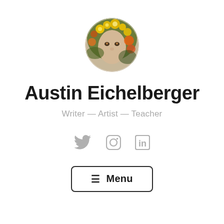[Figure (photo): Circular profile photo of a person with flowers — yellow and orange blooms overlaid on face, artistic photography style]
Austin Eichelberger
Writer — Artist — Teacher
[Figure (infographic): Three social media icons in gray: Twitter bird, Instagram camera outline, LinkedIn 'in' square]
≡ Menu